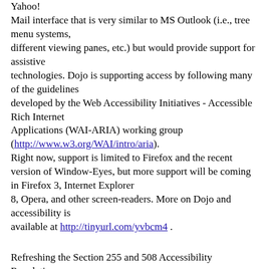Yahoo! Mail interface that is very similar to MS Outlook (i.e., tree menu systems, different viewing panes, etc.) but would provide support for assistive technologies. Dojo is supporting access by following many of the guidelines developed by the Web Accessibility Initiatives - Accessible Rich Internet Applications (WAI-ARIA) working group (http://www.w3.org/WAI/intro/aria). Right now, support is limited to Firefox and the recent version of Window-Eyes, but more support will be coming in Firefox 3, Internet Explorer 8, Opera, and other screen-readers. More on Dojo and accessibility is available at http://tinyurl.com/yvbcm4 .
Refreshing the Section 255 and 508 Accessibility Regulations This session reviewed where the TEITAC group (Telecommunications, Electronic and Information Technology Advisory Committee) was in the refresh of the Section 508 Standards and Section 255 Regulations. The short